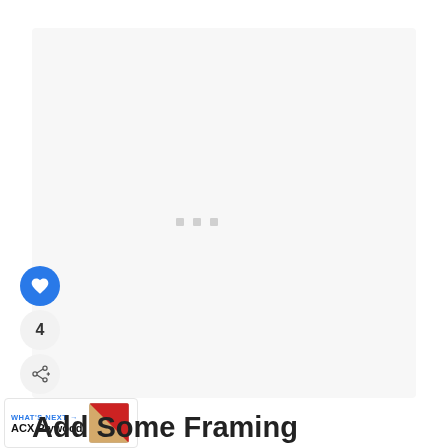[Figure (photo): Large light gray placeholder image area with three small gray square dots in the center]
[Figure (illustration): Blue circular like/heart button, count bubble showing 4, and share button with plus icon]
[Figure (photo): What's Next thumbnail showing ACX Plywood with a diagonal red and tan wood grain image]
Add Some Framing